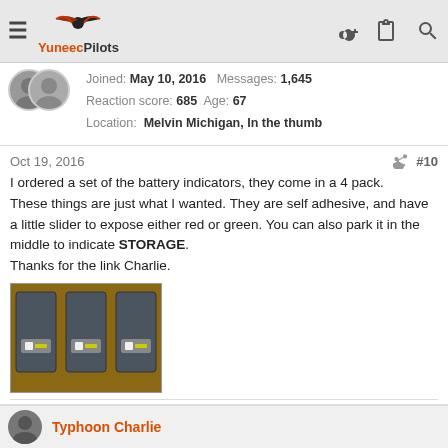YuneecPilots
Joined: May 10, 2016  Messages: 1,645
Reaction score: 685  Age: 67
Location: Melvin Michigan, In the thumb
Oct 19, 2016  #10
I ordered a set of the battery indicators, they come in a 4 pack. These things are just what I wanted. They are self adhesive, and have a little slider to expose either red or green. You can also park it in the middle to indicate STORAGE.
Thanks for the link Charlie.
[Figure (photo): Photo of three grey battery packs lined up side by side on a wooden surface, each with a small indicator label on the front.]
Reply
Typhoon Charlie